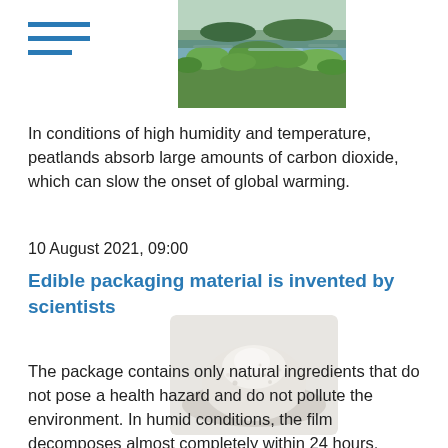[Figure (photo): Aerial or ground-level photo of a wetland/peatland landscape with water, grass, and vegetation]
In conditions of high humidity and temperature, peatlands absorb large amounts of carbon dioxide, which can slow the onset of global warming.
10 August 2021, 09:00
Edible packaging material is invented by scientists
[Figure (photo): A white powder pile on a light background, representing edible packaging material]
The package contains only natural ingredients that do not pose a health hazard and do not pollute the environment. In humid conditions, the film decomposes almost completely within 24 hours.